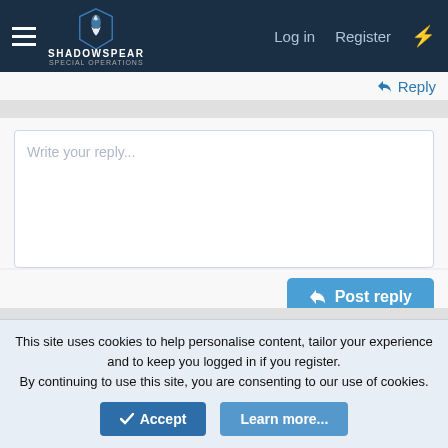ShadowSpear Special Operations — Log in | Register
Reply
Write your reply...
Post reply
Similar threads
Yeah, it's all a coincidence.
This site uses cookies to help personalise content, tailor your experience and to keep you logged in if you register.
By continuing to use this site, you are consenting to our use of cookies.
Accept
Learn more...